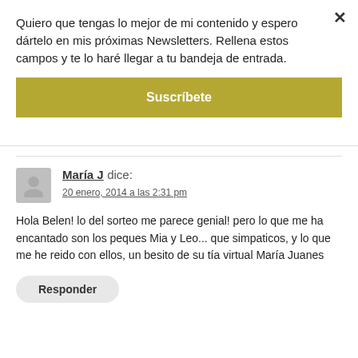Quiero que tengas lo mejor de mi contenido y espero dártelo en mis próximas Newsletters. Rellena estos campos y te lo haré llegar a tu bandeja de entrada.
Suscríbete
María J dice:
20 enero, 2014 a las 2:31 pm
Hola Belen! lo del sorteo me parece genial! pero lo que me ha encantado son los peques Mia y Leo... que simpaticos, y lo que me he reido con ellos, un besito de su tía virtual María Juanes
Responder